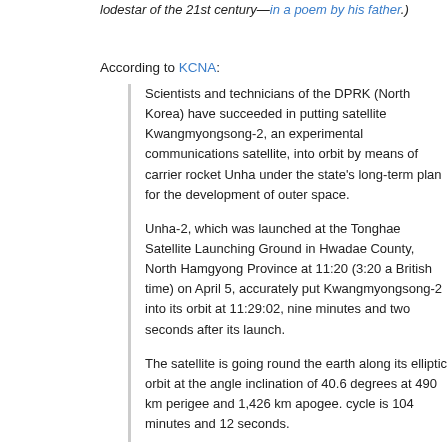lodestar of the 21st century—in a poem by his father.)
According to KCNA:
Scientists and technicians of the DPRK (North Korea) have succeeded in putting satellite Kwangmyongsong-2, an experimental communications satellite, into orbit by means of carrier rocket Unha under the state's long-term plan for the development of outer space.
Unha-2, which was launched at the Tonghae Satellite Launching Ground in Hwadae County, North Hamgyong Province at 11:20 (3:20 a British time) on April 5, accurately put Kwangmyongsong-2 into its orbit at 11:29:02, nine minutes and two seconds after its launch.
The satellite is going round the earth along its elliptic orbit at the angle inclination of 40.6 degrees at 490 km perigee and 1,426 km apogee. cycle is 104 minutes and 12 seconds.
Mounted on the satellite are necessary measuring devices and communications apparatuses.
The satellite is going round on its routine orbit.
It is sending to the earth the melodies of the immortal revolutionary paeans 'Song of General Kim Il-sung' and 'Song of General Kim Jong-il' and measured information at 470 MHz. By the use of the satellite, relay communications is now underway by UHF frequency band.
The satellite is of decisive significance in promoting the sci...